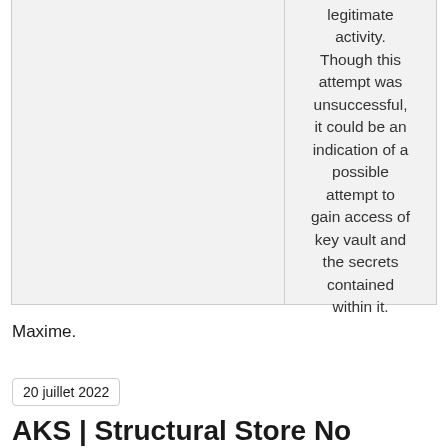|  | legitimate activity. Though this attempt was unsuccessful, it could be an indication of a possible attempt to gain access of key vault and the secrets contained within it. |
Maxime.
20 juillet 2022
AKS | Structural Store Node Renal...